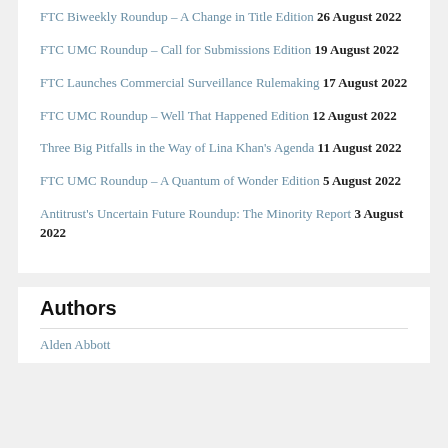FTC Biweekly Roundup – A Change in Title Edition 26 August 2022
FTC UMC Roundup – Call for Submissions Edition 19 August 2022
FTC Launches Commercial Surveillance Rulemaking 17 August 2022
FTC UMC Roundup – Well That Happened Edition 12 August 2022
Three Big Pitfalls in the Way of Lina Khan's Agenda 11 August 2022
FTC UMC Roundup – A Quantum of Wonder Edition 5 August 2022
Antitrust's Uncertain Future Roundup: The Minority Report 3 August 2022
Authors
Alden Abbott